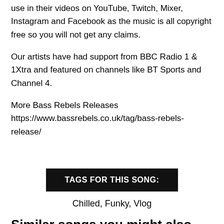use in their videos on YouTube, Twitch, Mixer, Instagram and Facebook as the music is all copyright free so you will not get any claims.
Our artists have had support from BBC Radio 1 & 1Xtra and featured on channels like BT Sports and Channel 4.
More Bass Rebels Releases
https://www.bassrebels.co.uk/tag/bass-rebels-release/
TAGS FOR THIS SONG:
Chilled, Funky, Vlog
Similar songs you might also enjoy: